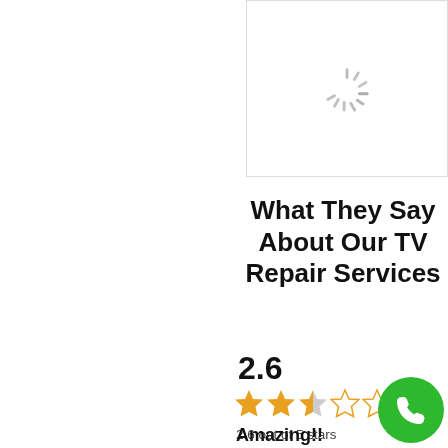[Figure (screenshot): Loading spinner icon inside a white box with border]
What They Say About Our TV Repair Services
2.6
[Figure (other): Star rating: 2.6 out of 5 stars shown with 2 full gold stars, 1 half gold star, 2 empty stars]
2.6 out of 5 stars (based on 16 reviews)
[Figure (other): Green circular call button with white phone handset icon]
Amazing!!